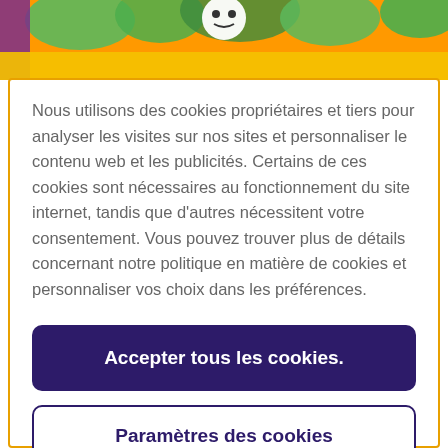[Figure (illustration): Top banner with orange/yellow cartoon-style illustration background, characters visible at top]
Nous utilisons des cookies propriétaires et tiers pour analyser les visites sur nos sites et personnaliser le contenu web et les publicités. Certains de ces cookies sont nécessaires au fonctionnement du site internet, tandis que d'autres nécessitent votre consentement. Vous pouvez trouver plus de détails concernant notre politique en matière de cookies et personnaliser vos choix dans les préférences.
Accepter tous les cookies.
Paramètres des cookies